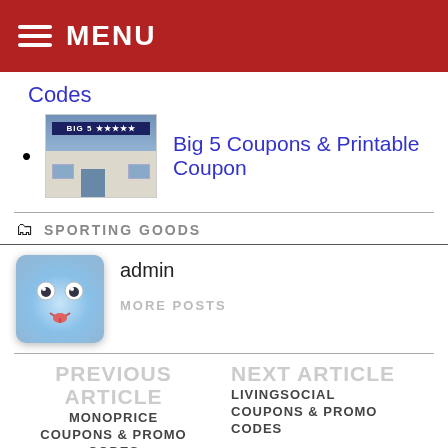MENU
Codes
Big 5 Coupons & Printable Coupon
SPORTING GOODS
admin
MORE POSTS
PREVIOUS ARTICLE
MONOPRICE COUPONS & PROMO CODES
NEXT ARTICLE
LIVINGSOCIAL COUPONS & PROMO CODES